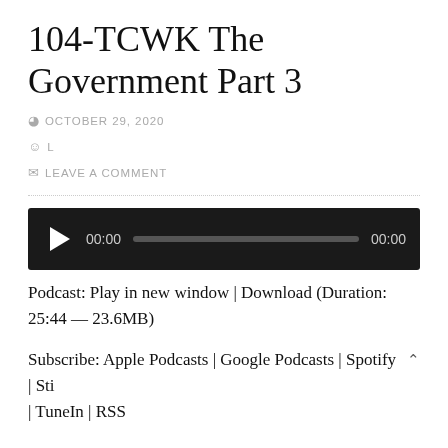104-TCWK The Government Part 3
OCTOBER 29, 2020
L
LEAVE A COMMENT
[Figure (other): Audio player with play button, time display 00:00, progress bar, and end time 00:00 on dark background]
Podcast: Play in new window | Download (Duration: 25:44 — 23.6MB)
Subscribe: Apple Podcasts | Google Podcasts | Spotify | Sti | TuneIn | RSS